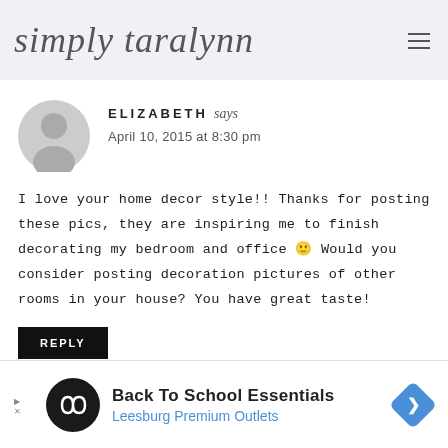simply taralynn
ELIZABETH says
April 10, 2015 at 8:30 pm
I love your home decor style!! Thanks for posting these pics, they are inspiring me to finish decorating my bedroom and office 🙂 Would you consider posting decoration pictures of other rooms in your house? You have great taste!
REPLY
[Figure (infographic): Advertisement banner for Back To School Essentials at Leesburg Premium Outlets]